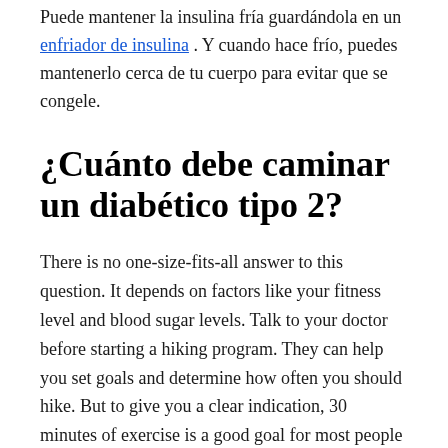Puede mantener la insulina fría guardándola en un enfriador de insulina . Y cuando hace frío, puedes mantenerlo cerca de tu cuerpo para evitar que se congele.
¿Cuánto debe caminar un diabético tipo 2?
There is no one-size-fits-all answer to this question. It depends on factors like your fitness level and blood sugar levels. Talk to your doctor before starting a hiking program. They can help you set goals and determine how often you should hike. But to give you a clear indication, 30 minutes of exercise is a good goal for most people with diabetes. Try to gradually increase